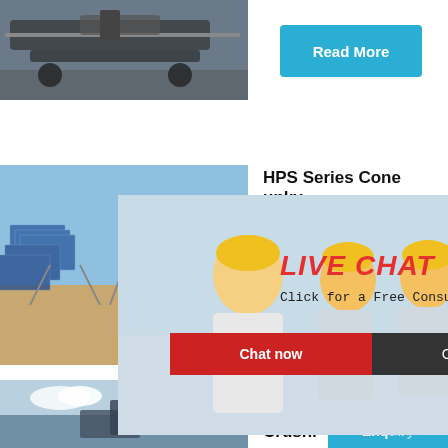[Figure (photo): Photo of industrial equipment/crawler machine on ground, top left]
Read More
[Figure (photo): Photo of solar panel installation / industrial site, middle left]
HPS Series Cone
unky
hour online
[Figure (photo): Live chat popup: woman with yellow hard hat workers, LIVE CHAT overlay with Chat now / Chat later buttons]
LIVE CHAT
Click for a Free Consultation
Chat now
Chat later
Read
[Figure (photo): Industrial crusher machine image on right side]
Click me to chat>>
Enquiry
[Figure (photo): Photo of construction/crushing equipment, bottom left]
C4 Con Mobile Crushi
limingjlmofen